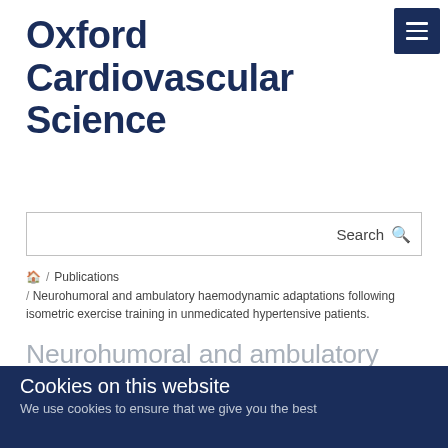Oxford Cardiovascular Science
Search
🏠 / Publications / Neurohumoral and ambulatory haemodynamic adaptations following isometric exercise training in unmedicated hypertensive patients.
Neurohumoral and ambulatory haemodynamic adaptations following isometric exercise training in unmedicated hypertensive patients.
Cookies on this website
We use cookies to ensure that we give you the best